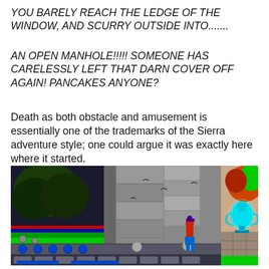YOU BARELY REACH THE LEDGE OF THE WINDOW, AND SCURRY OUTSIDE INTO.......
AN OPEN MANHOLE!!!!! SOMEONE HAS CARELESSLY LEFT THAT DARN COVER OFF AGAIN! PANCAKES ANYONE?
Death as both obstacle and amusement is essentially one of the trademarks of the Sierra adventure style; one could argue it was exactly here where it started.
[Figure (screenshot): A retro pixel-art video game screenshot showing a side-scrolling scene with a character in red and blue walking on a platform near a castle wall, with a glowing blue vase/trophy on the right and trees on the left background.]